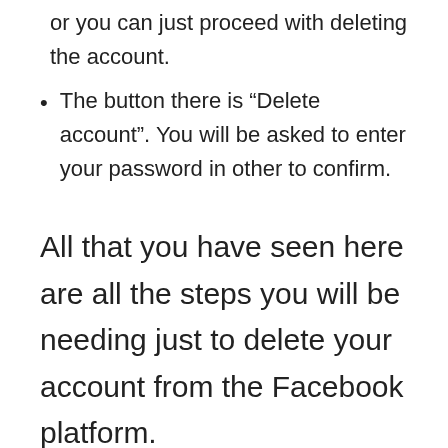or you can just proceed with deleting the account.
The button there is “Delete account”. You will be asked to enter your password in other to confirm.
All that you have seen here are all the steps you will be needing just to delete your account from the Facebook platform.
« Previous Post
Facebook Advertising not Working – Facebook App | Why Facebook Advertising not Working
Next Post »